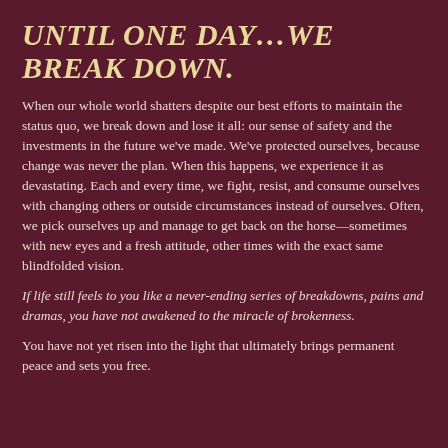UNTIL ONE DAY…WE BREAK DOWN.
When our whole world shatters despite our best efforts to maintain the status quo, we break down and lose it all: our sense of safety and the investments in the future we've made. We've protected ourselves, because change was never the plan. When this happens, we experience it as devastating. Each and every time, we fight, resist, and consume ourselves with changing others or outside circumstances instead of ourselves. Often, we pick ourselves up and manage to get back on the horse—sometimes with new eyes and a fresh attitude, other times with the exact same blindfolded vision.
If life still feels to you like a never-ending series of breakdowns, pains and dramas, you have not awakened to the miracle of brokenness.
You have not yet risen into the light that ultimately brings permanent peace and sets you free.